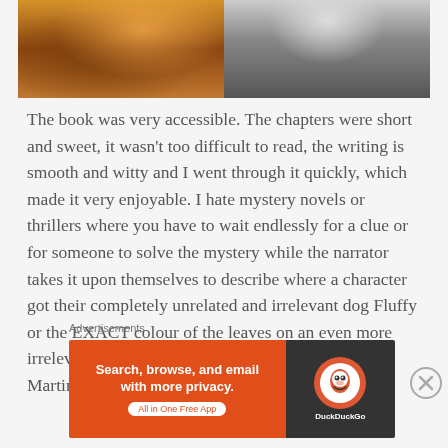[Figure (photo): Two side-by-side photos: left is a colorful stylized portrait of a person with sunglasses and blonde hair; right is a black and white photo of a person with braided hair/rope accessory]
The book was very accessible. The chapters were short and sweet, it wasn't too difficult to read, the writing is smooth and witty and I went through it quickly, which made it very enjoyable. I hate mystery novels or thrillers where you have to wait endlessly for a clue or for someone to solve the mystery while the narrator takes it upon themselves to describe where a character got their completely unrelated and irrelevant dog Fluffy or the EXACT colour of the leaves on an even more irrelevant tree (I'm looking at you, George R.R. Martin). This is definitely
Advertisements
[Figure (screenshot): DuckDuckGo advertisement banner: orange left panel with text 'Search, browse, and email with more privacy. All in One Free App', dark right panel with DuckDuckGo logo and brand name]